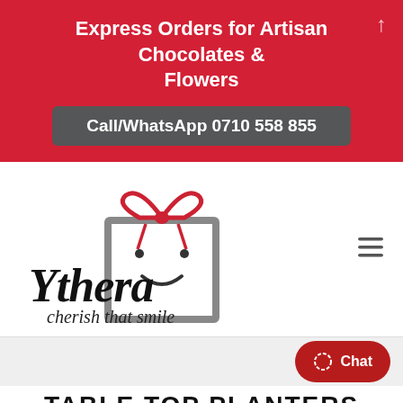Express Orders for Artisan Chocolates & Flowers
Call/WhatsApp 0710 558 855
[Figure (logo): Ythera logo — gift box with red bow ribbon forming a heart shape, smiley face on box, with cursive text 'Ythera' and tagline 'cherish that smile']
TABLE TOP PLANTERS